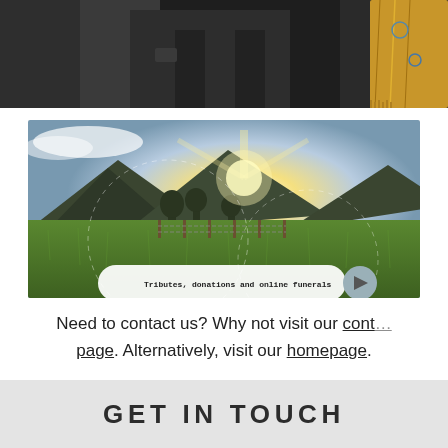[Figure (photo): Top portion of a group photo showing people in dark suits, one person wearing a yellow/gold patterned scarf on the right side]
[Figure (photo): Landscape photo of a green meadow with mountains in the background and bright sunlight breaking through. A dashed circular design overlays the image. A video badge overlay reads 'Tributes, donations and online funerals' with a play button.]
Need to contact us? Why not visit our contact page. Alternatively, visit our homepage.
GET IN TOUCH